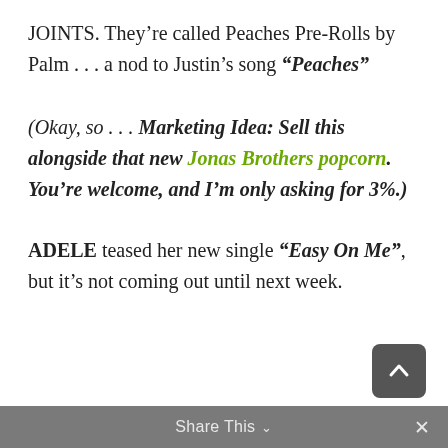JOINTS.  They're called Peaches Pre-Rolls by Palm . . . a nod to Justin's song “Peaches”
(Okay, so . . . Marketing Idea:  Sell this alongside that new Jonas Brothers popcorn.  You’re welcome, and I’m only asking for 3%.)
ADELE teased her new single “Easy On Me”, but it’s not coming out until next week.
Share This